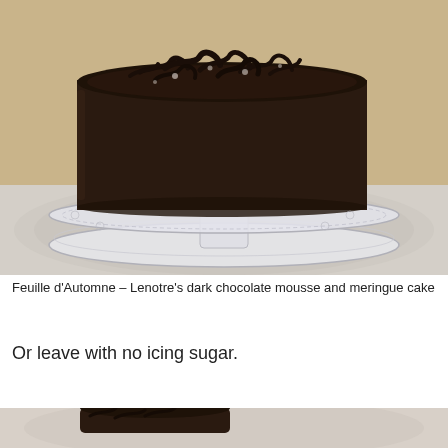[Figure (photo): A round dark chocolate mousse and meringue cake covered in dark chocolate ganache and topped with chocolate shavings/decorations, displayed on a glass cake stand on a decorative tablecloth. Background is a warm beige wall.]
Feuille d’Automne – Lenotre’s dark chocolate mousse and meringue cake
Or leave with no icing sugar.
[Figure (photo): Bottom portion of another photo showing a chocolate cake on a decorative surface, partially visible.]